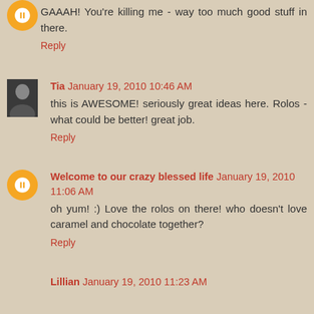GAAAH! You're killing me - way too much good stuff in there.
Reply
Tia January 19, 2010 10:46 AM
this is AWESOME! seriously great ideas here. Rolos - what could be better! great job.
Reply
Welcome to our crazy blessed life January 19, 2010 11:06 AM
oh yum! :) Love the rolos on there! who doesn't love caramel and chocolate together?
Reply
Lillian January 19, 2010 11:23 AM